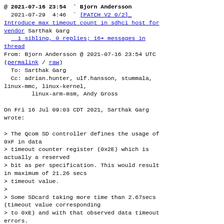@ 2021-07-16 23:54  ` Bjorn Andersson
  2021-07-29  4:46  ` [PATCH V2 0/2] Introduce max timeout count in sdhci host for vendor Sarthak Garg
    1 sibling, 0 replies; 16+ messages in thread
From: Bjorn Andersson @ 2021-07-16 23:54 UTC (permalink / raw)
  To: Sarthak Garg
  Cc: adrian.hunter, ulf.hansson, stummala, linux-mmc, linux-kernel,
        linux-arm-msm, Andy Gross

On Fri 16 Jul 09:03 CDT 2021, Sarthak Garg wrote:

> The Qcom SD controller defines the usage of 0xF in data
> timeout counter register (0x2E) which is actually a reserved
> bit as per specification. This would result in maximum of 21.26 secs
> timeout value.
>
> Some SDcard taking more time than 2.67secs (timeout value corresponding
> to 0xE) and with that observed data timeout errors.
> So increasing the timeout value to max possible timeout.